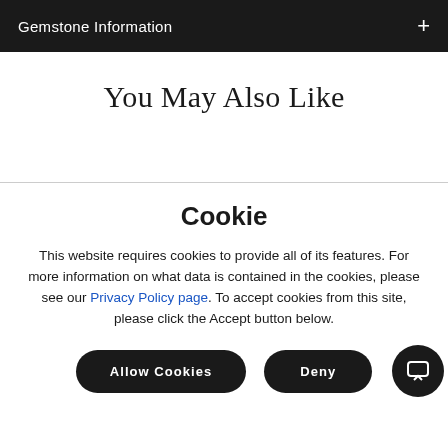Gemstone Information
You May Also Like
Cookie
This website requires cookies to provide all of its features. For more information on what data is contained in the cookies, please see our Privacy Policy page. To accept cookies from this site, please click the Accept button below.
Allow Cookies
Deny